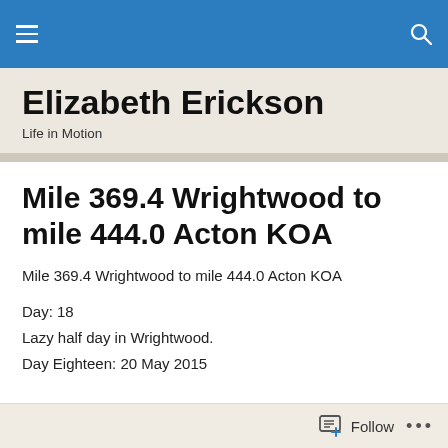Elizabeth Erickson — Life in Motion (navigation bar)
Elizabeth Erickson
Life in Motion
Mile 369.4 Wrightwood to mile 444.0 Acton KOA
Mile 369.4 Wrightwood to mile 444.0 Acton KOA
Day: 18
Lazy half day in Wrightwood.
Day Eighteen: 20 May 2015
Follow